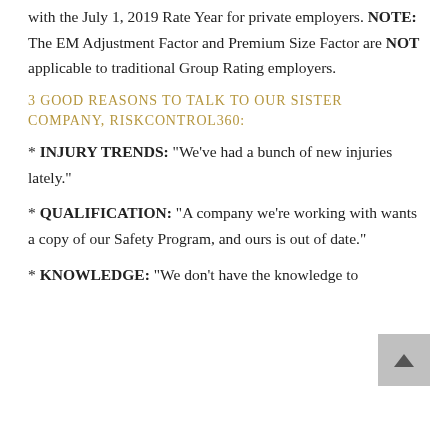with the July 1, 2019 Rate Year for private employers. NOTE: The EM Adjustment Factor and Premium Size Factor are NOT applicable to traditional Group Rating employers.
3 GOOD REASONS TO TALK TO OUR SISTER COMPANY, RISKCONTROL360:
* INJURY TRENDS: “We’ve had a bunch of new injuries lately.”
* QUALIFICATION: “A company we’re working with wants a copy of our Safety Program, and ours is out of date.”
* KNOWLEDGE: “We don’t have the knowledge to